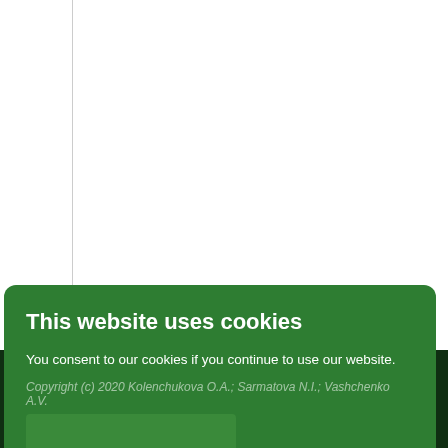[Figure (screenshot): White background area with a vertical grey line on the left side, representing the top portion of a webpage]
This website uses cookies
You consent to our cookies if you continue to use our website.
About Cookies
This work is licensed under a Creative Commons Attribution 4.0 International License.
Modified by ECO-VECTOR
Powered by PKP OJS